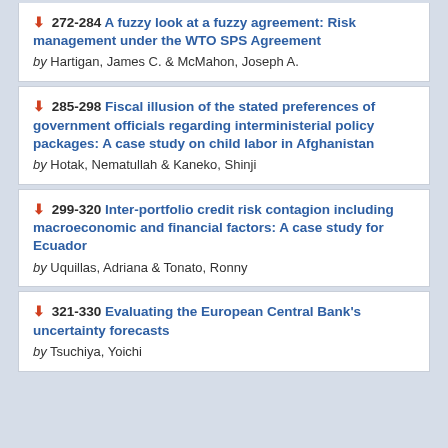272-284 A fuzzy look at a fuzzy agreement: Risk management under the WTO SPS Agreement by Hartigan, James C. & McMahon, Joseph A.
285-298 Fiscal illusion of the stated preferences of government officials regarding interministerial policy packages: A case study on child labor in Afghanistan by Hotak, Nematullah & Kaneko, Shinji
299-320 Inter-portfolio credit risk contagion including macroeconomic and financial factors: A case study for Ecuador by Uquillas, Adriana & Tonato, Ronny
321-330 Evaluating the European Central Bank's uncertainty forecasts by Tsuchiya, Yoichi